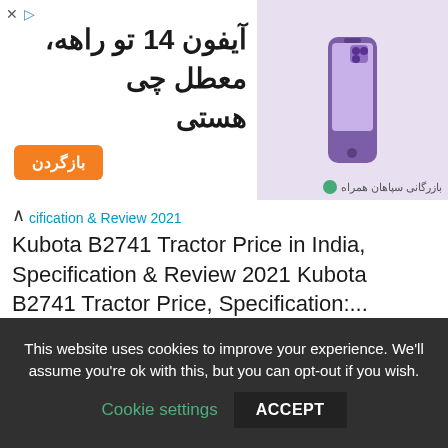[Figure (screenshot): Advertisement banner for iPhone 14 in Persian, with orange button and purple phone image on right side]
cification & Review 2021
Kubota B2741 Tractor Price in India, Specification & Review 2021 Kubota B2741 Tractor Price, Specification:...
kubota
< John Deere 260 Garden Tractor Price, Specs, Attachments 2021
> Toro 500 Lawn Tractor Price, Specs...
This website uses cookies to improve your experience. We'll assume you're ok with this, but you can opt-out if you wish.
Cookie settings  ACCEPT